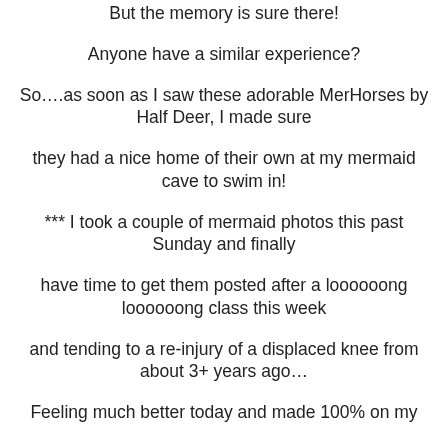But the memory is sure there!
Anyone have a similar experience?
So….as soon as I saw these adorable MerHorses by Half Deer, I made sure
they had a nice home of their own at my mermaid cave to swim in!
*** I took a couple of mermaid photos this past Sunday and finally
have time to get them posted after a loooooong loooooong class this week
and tending to a re-injury of a displaced knee from about 3+ years ago…
Feeling much better today and made 100% on my